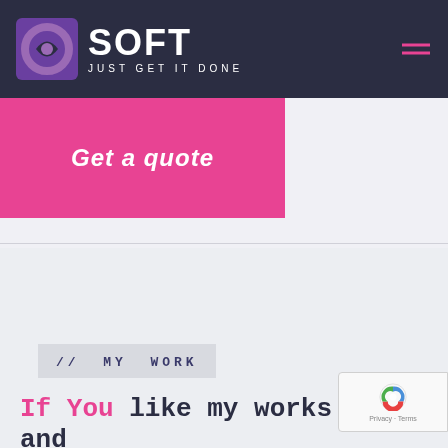SOFT JUST GET IT DONE
Get a quote
// MY WORK
If You like my works and want to make beautiful and